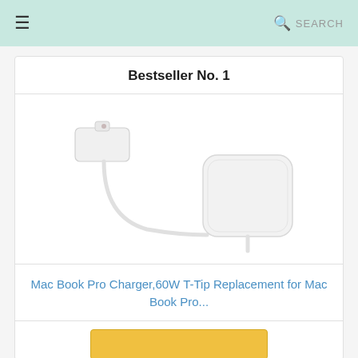≡  🔍 SEARCH
Bestseller No. 1
[Figure (photo): White laptop charger — a MagSafe T-tip connector and cable connected to a white square power adapter brick, shown on white background]
Mac Book Pro Charger,60W T-Tip Replacement for Mac Book Pro...
[Figure (other): Yellow buy/purchase button partially visible at bottom]